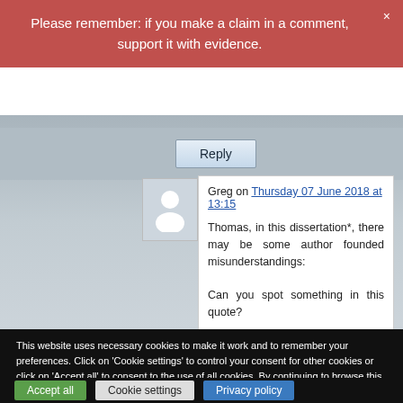Please remember: if you make a claim in a comment, support it with evidence.
[Figure (screenshot): Comment section with Reply button and user avatar]
Greg on Thursday 07 June 2018 at 13:15
Thomas, in this dissertation*, there may be some author founded misunderstandings:

Can you spot something in this quote?
This website uses necessary cookies to make it work and to remember your preferences. Click on 'Cookie settings' to control your consent for other cookies or click on 'Accept all' to consent to the use of all cookies. By continuing to browse this website you are agreeing to our Privacy policy.
Accept all | Cookie settings | Privacy policy